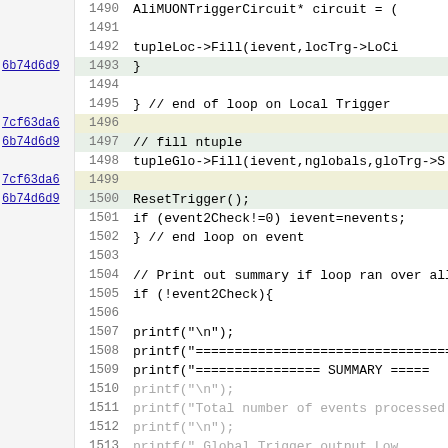[Figure (screenshot): Source code viewer showing lines 1490-1522 of a C++ file with blame annotations (commit hashes 6b74d6d9 and 7cf63da6) on the left, line numbers, and code content including AliMUONTriggerCircuit, tupleLoc->Fill, tupleGlo->Fill, ResetTrigger, event loop, and printf summary statements.]